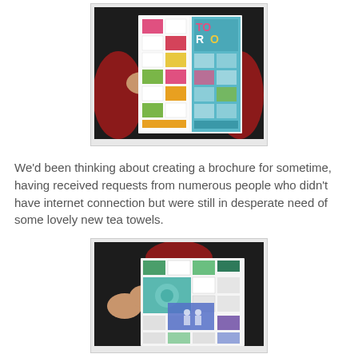[Figure (photo): Person in red sweater holding open a colorful product brochure/catalog showing tea towel designs in a grid layout, with a teal/blue section visible on the right side.]
We'd been thinking about creating a brochure for sometime, having received requests from numerous people who didn't have internet connection but were still in desperate need of some lovely new tea towels.
[Figure (photo): Person in red sweater holding open a product brochure/catalog showing tea towel designs in green and teal color schemes, with a grid layout of product cards.]